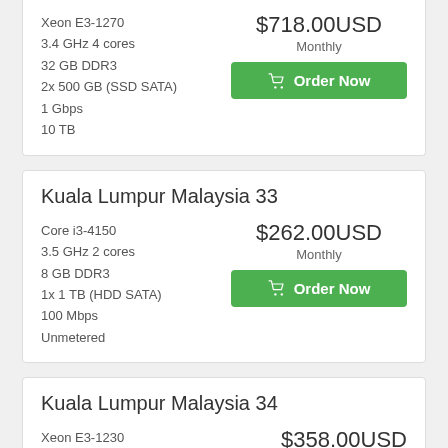Xeon E3-1270
3.4 GHz 4 cores
32 GB DDR3
2x 500 GB (SSD SATA)
1 Gbps
10 TB
$718.00USD Monthly
Kuala Lumpur Malaysia 33
Core i3-4150
3.5 GHz 2 cores
8 GB DDR3
1x 1 TB (HDD SATA)
100 Mbps
Unmetered
$262.00USD Monthly
Kuala Lumpur Malaysia 34
Xeon E3-1230
3.2 GHz 4 cores
$358.00USD